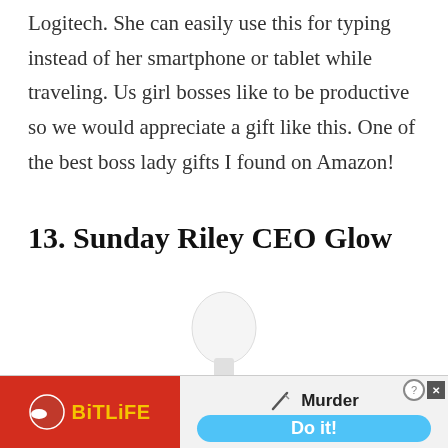Logitech. She can easily use this for typing instead of her smartphone or tablet while traveling. Us girl bosses like to be productive so we would appreciate a gift like this. One of the best boss lady gifts I found on Amazon!
13. Sunday Riley CEO Glow
[Figure (photo): Product photo of a Sunday Riley CEO Glow facial oil bottle with a white dropper top and gold metallic cap, partially cropped at the bottom]
[Figure (screenshot): BitLife mobile game advertisement banner with red background on the left showing the BitLife logo, and right side showing 'Murder' text with knife icon and 'Do it!' blue button]